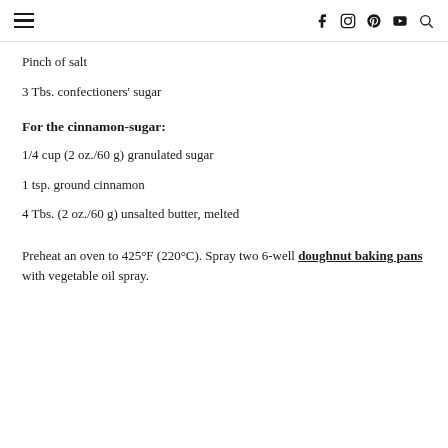≡  f  ⊙  ⊕  ▶  🔍
Pinch of salt
3 Tbs. confectioners' sugar
For the cinnamon-sugar:
1/4 cup (2 oz./60 g) granulated sugar
1 tsp. ground cinnamon
4 Tbs. (2 oz./60 g) unsalted butter, melted
Preheat an oven to 425°F (220°C). Spray two 6-well doughnut baking pans with vegetable oil spray.